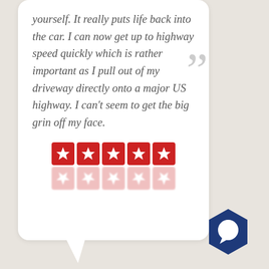yourself. It really puts life back into the car. I can now get up to highway speed quickly which is rather important as I pull out of my driveway directly onto a major US highway. I can't seem to get the big grin off my face.
[Figure (infographic): Five red star rating boxes with white stars, with a faint reflection below]
[Figure (logo): Dark blue hexagon shape with a white speech bubble / chat icon inside]